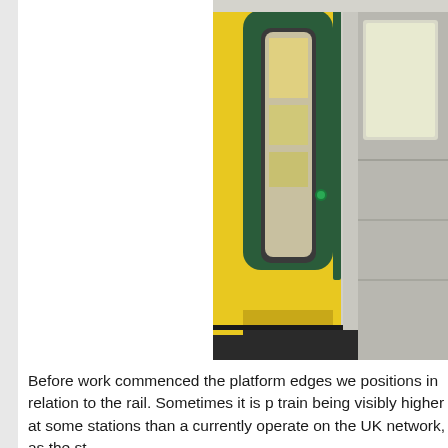[Figure (photo): Close-up photo of a train door and carriage exterior at a station platform. The train has a yellow and dark green livery. The door is partially open showing the interior. The platform surface (dark/black) is visible at the bottom.]
Before work commenced the platform edges we positions in relation to the rail. Sometimes it is p train being visibly higher at some stations than a currently operate on the UK network, as the st